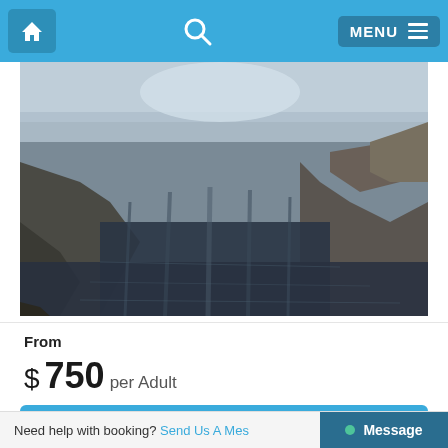Home | Search | MENU
[Figure (photo): Aerial view of a mountain lake or quarry lake with dark blue reflective water, rocky shoreline, misty/hazy sky]
From
$ 750 per Adult
Check Availability
Need help with booking? Send Us A Message